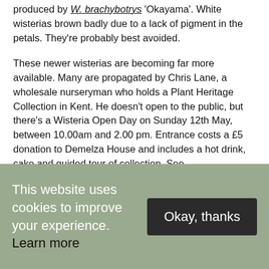produced by W. brachybotrys 'Okayama'. White wisterias brown badly due to a lack of pigment in the petals. They're probably best avoided.
These newer wisterias are becoming far more available. Many are propagated by Chris Lane, a wholesale nurseryman who holds a Plant Heritage Collection in Kent. He doesn't open to the public, but there's a Wisteria Open Day on Sunday 12th May, between 10.00am and 2.00 pm. Entrance costs a £5 donation to Demelza House and includes a hot drink,  cake and guided tour of collection. See
This website uses cookies to improve your experience. Learn more